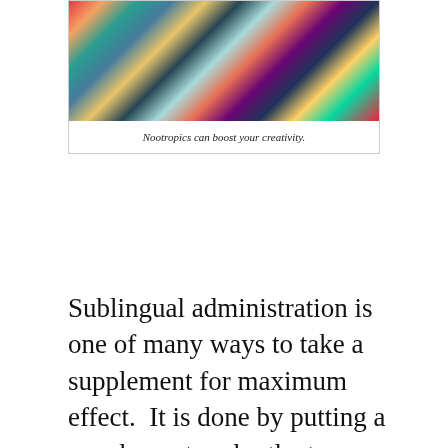[Figure (illustration): Colorful abstract painting showing swirling forms with vibrant multicolored brushstrokes in blues, reds, yellows, greens and pinks]
Nootropics can boost your creativity.
Sublingual administration is one of many ways to take a supplement for maximum effect.  It is done by putting a supplement under the tongue and allowing it to diffuse into the bloodstream through the mucous membrane beneath the tongue.  Taking substances this way can lead to faster effects because they go straight into the bloodstream rather than being passed through the liver first or being degraded by